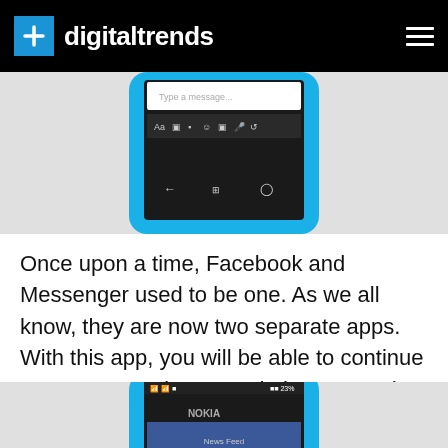digitaltrends
[Figure (screenshot): Top portion of a Nokia Windows Phone showing Facebook Messenger app interface with message input bar, emoji icons, and navigation buttons]
Once upon a time, Facebook and Messenger used to be one. As we all know, they are now two separate apps. With this app, you will be able to continue your conversations, send pictures, and have group chats with your family and friends. Facebook
[Figure (screenshot): Bottom portion of a Nokia Windows Phone showing the Facebook app home screen with Nokia branding visible]